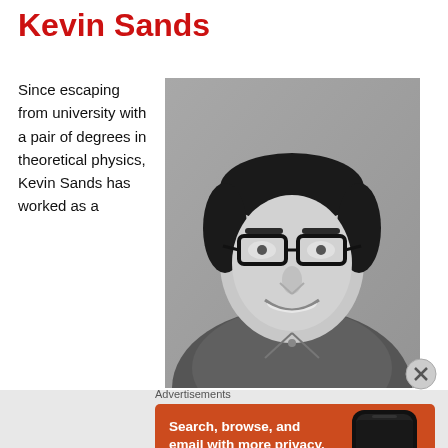Kevin Sands
Since escaping from university with a pair of degrees in theoretical physics, Kevin Sands has worked as a
[Figure (photo): Black and white professional headshot of Kevin Sands, a man with dark hair, wearing glasses and a collared shirt, smiling.]
Advertisements
[Figure (infographic): DuckDuckGo advertisement banner with orange background. Text: 'Search, browse, and email with more privacy. All in One Free App'. Shows a phone with DuckDuckGo logo.]